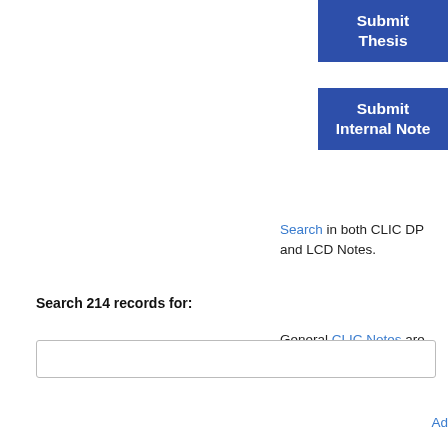[Figure (screenshot): Blue 'Submit Thesis' button positioned in upper right]
[Figure (screenshot): Blue 'Submit Internal Note' button positioned below Submit Thesis]
Search in both CLIC DP and LCD Notes.
General CLIC Notes are also available.
Search 214 records for:
[Figure (screenshot): Search input text box]
Ad...